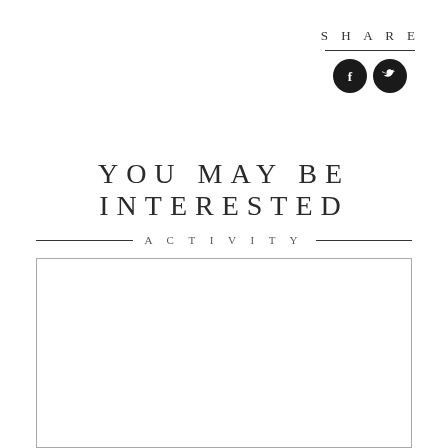SHARE
[Figure (illustration): Social share icons: Facebook (f) and Twitter (bird) as black circles]
YOU MAY BE INTERESTED
ACTIVITY
BOMBAS GENS VIRTUAL
[Figure (photo): Two side-by-side photos: left showing dark indistinct figure, right showing blue sky with white heart shape]